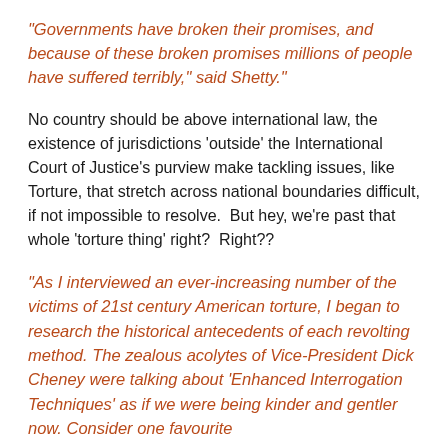“Governments have broken their promises, and because of these broken promises millions of people have suffered terribly,” said Shetty.”
No country should be above international law, the existence of jurisdictions ‘outside’ the International Court of Justice’s purview make tackling issues, like Torture, that stretch across national boundaries difficult, if not impossible to resolve.  But hey, we’re past that whole ‘torture thing’ right?  Right??
“As I interviewed an ever-increasing number of the victims of 21st century American torture, I began to research the historical antecedents of each revolting method. The zealous acolytes of Vice-President Dick Cheney were talking about ‘Enhanced Interrogation Techniques’ as if we were being kinder and gentler now. Consider one favourite